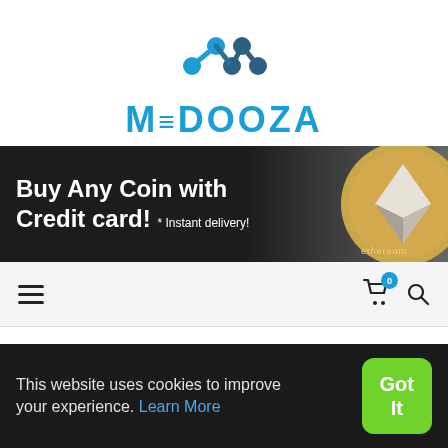[Figure (logo): Medooza logo with connected nodes graphic above stylized MEDOOZA text in teal/blue]
[Figure (infographic): Banner advertisement: 'Buy Any Coin with Credit card! * Instant delivery!' with Ethereum coin image on the right, dark background]
[Figure (infographic): Navigation bar with hamburger menu icon on left, shopping cart icon with badge '0' and search icon on right]
Home » Medooza Blockchain & Cryptocurrency tools
This website uses cookies to improve your experience. Learn More
Got It